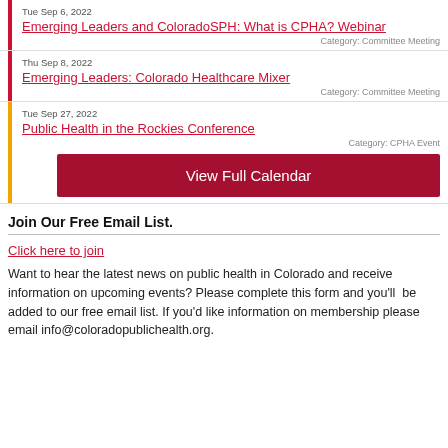Tue Sep 6, 2022
Emerging Leaders and ColoradoSPH: What is CPHA? Webinar
Category: Committee Meeting
Thu Sep 8, 2022
Emerging Leaders: Colorado Healthcare Mixer
Category: Committee Meeting
Tue Sep 27, 2022
Public Health in the Rockies Conference
Category: CPHA Event
View Full Calendar
Join Our Free Email List.
Click here to join
Want to hear the latest news on public health in Colorado and receive information on upcoming events? Please complete this form and you'll  be added to our free email list. If you'd like information on membership please email info@coloradopublichealth.org.